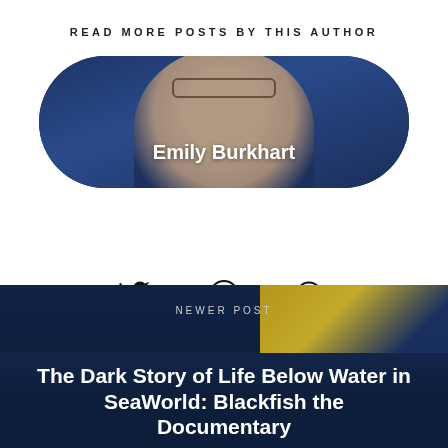READ MORE POSTS BY THIS AUTHOR
[Figure (photo): Author profile pill-shaped image of Emily Burkhart with dark blue background, showing a smiling woman with glasses]
Emily Burkhart
[Figure (infographic): Social media icons row: Twitter (bird), Facebook (f), Google+ (G+)]
[Figure (photo): SeaWorld underwater show background image with blue tones and yellow stage]
NEWER POST
The Dark Story of Life Below Water in SeaWorld: Blackfish the Documentary